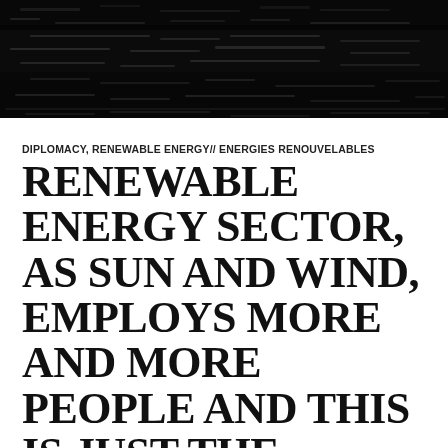[Figure (photo): Dark night-time outdoor photo, predominantly black with textured reflections or water surface visible.]
DIPLOMACY, RENEWABLE ENERGY// ENERGIES RENOUVELABLES
RENEWABLE ENERGY SECTOR, AS SUN AND WIND, EMPLOYS MORE AND MORE PEOPLE AND THIS IS JUST THE START.
MAY 4, 2017   8 COMMENTS
Rate This
According to a report by Allen & York, the